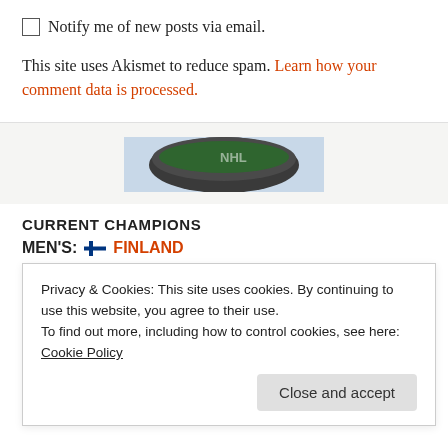Notify me of new posts via email.
This site uses Akismet to reduce spam. Learn how your comment data is processed.
[Figure (photo): Partial image of a hockey puck, cropped at edges, on a light blue background]
CURRENT CHAMPIONS
MEN'S: 🇫🇮 FINLAND
won: vs. 🇨🇿 CZECHIA, 24 May 22
last: vs. 🇨🇦 CANADA, 29 May 22
Privacy & Cookies: This site uses cookies. By continuing to use this website, you agree to their use.
To find out more, including how to control cookies, see here: Cookie Policy